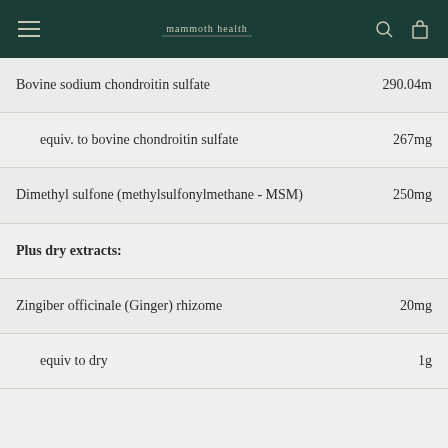mammoth health [navigation bar with logo, search, and cart icons]
| Ingredient | Amount |
| --- | --- |
| Bovine sodium chondroitin sulfate | 290.04m |
| equiv. to bovine chondroitin sulfate | 267mg |
| Dimethyl sulfone (methylsulfonylmethane - MSM) | 250mg |
| Plus dry extracts: |  |
| Zingiber officinale (Ginger) rhizome | 20mg |
| equiv to dry | 1g |